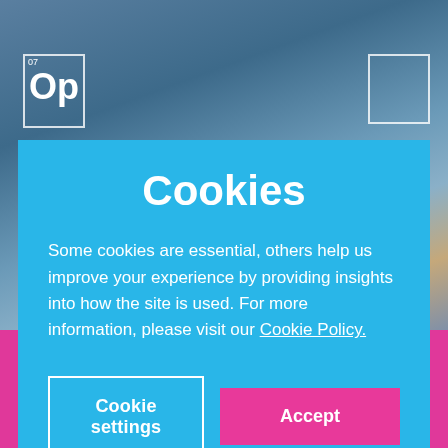[Figure (screenshot): Background photo of people standing, partially obscured by cookie consent dialog. Two periodic element-style boxes visible in upper corners.]
Cookies
Some cookies are essential, others help us improve your experience by providing insights into how the site is used. For more information, please visit our Cookie Policy.
Cookie settings
Accept
Join the Opinium Panel? →